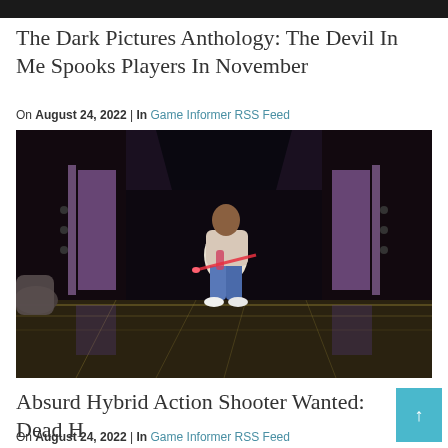[Figure (photo): Dark top image strip, likely partial image from previous article]
The Dark Pictures Anthology: The Devil In Me Spooks Players In November
On August 24, 2022 | In Game Informer RSS Feed
[Figure (photo): Game screenshot showing a character in blue jeans and white jacket jumping or floating in a dark futuristic room with purple lit panels on the walls and a golden reflective floor]
Absurd Hybrid Action Shooter Wanted: Dead Hopes To Win Your Heart On Valentine's Day
On August 24, 2022 | In Game Informer RSS Feed